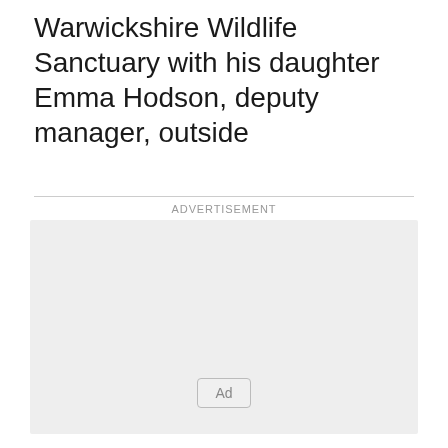Warwickshire Wildlife Sanctuary with his daughter Emma Hodson, deputy manager, outside
[Figure (other): Advertisement placeholder box with 'Ad' button label]